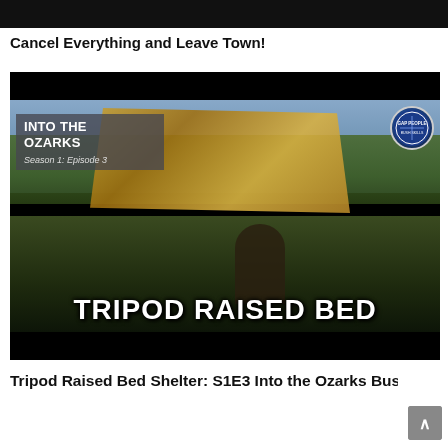Cancel Everything and Leave Town!
[Figure (screenshot): Video thumbnail for 'Tripod Raised Bed Shelter: S1E3 Into the Ozarks Bushcraft' showing a man sitting near a tarp shelter and campfire in a wooded outdoor setting. Overlaid text reads: INTO THE OZARKS / Season 1: Episode 3 / TRIPOD RAISED BED. A circular logo appears in the top right corner.]
Tripod Raised Bed Shelter: S1E3 Into the Ozarks Bushcra…